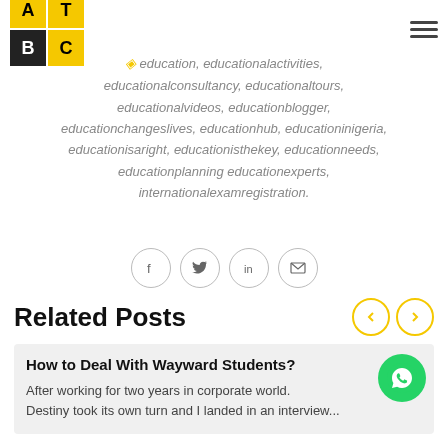ATBC logo and navigation
education, educationalactivities, educationalconsultancy, educationaltours, educationalvideos, educationblogger, educationchangeslives, educationhub, educationinigeria, educationisaright, educationisthekey, educationneeds, educationplanning educationexperts, internationalexamregistration.
[Figure (infographic): Social sharing icons: Facebook, Twitter, LinkedIn, Email]
Related Posts
How to Deal With Wayward Students?
After working for two years in corporate world. Destiny took its own turn and I landed in an interview...